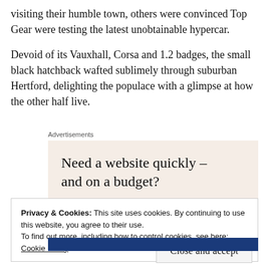visiting their humble town, others were convinced Top Gear were testing the latest unobtainable hypercar.
Devoid of its Vauxhall, Corsa and 1.2 badges, the small black hatchback wafted sublimely through suburban Hertford, delighting the populace with a glimpse at how the other half live.
Advertisements
[Figure (other): Advertisement box with beige background reading: Need a website quickly – and on a budget?]
Privacy & Cookies: This site uses cookies. By continuing to use this website, you agree to their use.
To find out more, including how to control cookies, see here:
Cookie Policy
Close and accept